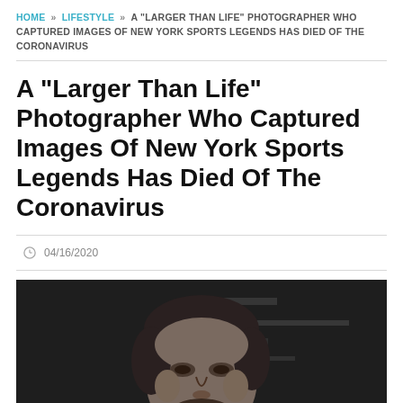HOME » LIFESTYLE » A "LARGER THAN LIFE" PHOTOGRAPHER WHO CAPTURED IMAGES OF NEW YORK SPORTS LEGENDS HAS DIED OF THE CORONAVIRUS
A "Larger Than Life" Photographer Who Captured Images Of New York Sports Legends Has Died Of The Coronavirus
04/16/2020
[Figure (photo): Black and white close-up photograph of a man with dark hair, beard and mustache, looking slightly to the side]